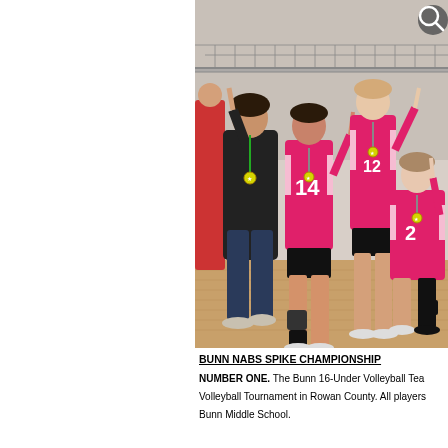[Figure (photo): A coach and several girls volleyball players in pink uniforms with medals, posing with index fingers raised (number one gesture) in a gymnasium with a volleyball net in the background. Coach wears black tracksuit. Players wear hot pink jerseys with numbers including 14.]
BUNN NABS SPIKE CHAMPIONSHIP
NUMBER ONE. The Bunn 16-Under Volleyball Team won the Spike Volleyball Tournament in Rowan County. All players are from Bunn Middle School.